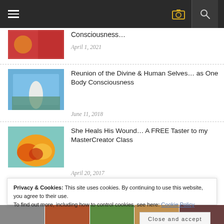Navigation header with menu, camera icon, and search icon
[Figure (photo): Partial thumbnail image at top (red/colorful background with people)]
Consciousness…
April 1, 2021
[Figure (photo): Thumbnail of woman in white dress standing on a hillside with blue sky, with overlay text about Divine and Human Selves]
Reunion of the Divine & Human Selves… as One Body Consciousness
June 11, 2018
[Figure (photo): Thumbnail of colorful flower (orange/yellow) on teal background with text overlay]
She Heals His Wound… A FREE Taster to my MasterCreator Class
April 20, 2017
Privacy & Cookies: This site uses cookies. By continuing to use this website, you agree to their use.
To find out more, including how to control cookies, see here: Cookie Policy
Close and accept
[Figure (photo): Bottom thumbnail strip with five small images]